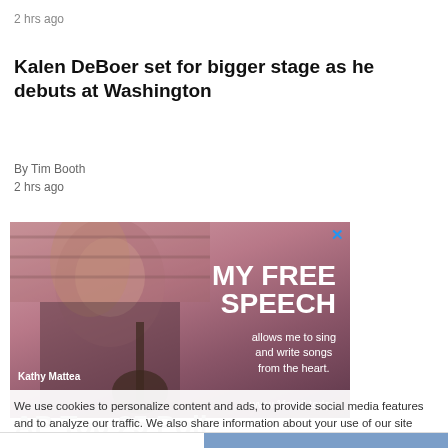2 hrs ago
Kalen DeBoer set for bigger stage as he debuts at Washington
By Tim Booth
2 hrs ago
[Figure (photo): Advertisement photo showing a woman (Kathy Mattea) with text 'MY FREE SPEECH allows me to sing and write songs from the heart. www.1forall.today']
We use cookies to personalize content and ads, to provide social media features and to analyze our traffic. We also share information about your use of our site with our social media, advertising and analytics partners. Privacy Policy
Cookies Settings   Accept All Cookies
AP Top 25 Poll